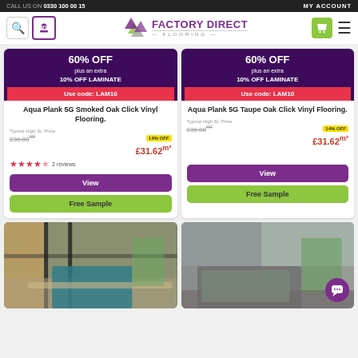CALL US ON 0330 100 00 15   MY ACCOUNT
[Figure (logo): Factory Direct Flooring logo with diamond shapes in purple and green]
[Figure (screenshot): Product card: Aqua Plank 5G Smoked Oak Click Vinyl Flooring. 60% OFF plus an extra 10% OFF LAMINATE. Use code: LAM10. Typical High St. Price £36.80/m2. 14% OFF. £31.62m2. 4.5 stars. 2 reviews. View button. Free Sample button.]
[Figure (screenshot): Product card: Aqua Plank 5G Taupe Oak Click Vinyl Flooring. 60% OFF plus an extra 10% OFF LAMINATE. Use code: LAM10. Typical High St. Price £36.80/m2. 14% OFF. £31.62m2. View button. Free Sample button.]
[Figure (photo): Room with teal sofa, large glass doors, green plants and white brick wall]
[Figure (photo): Living room with grey sofa, green plant and window]